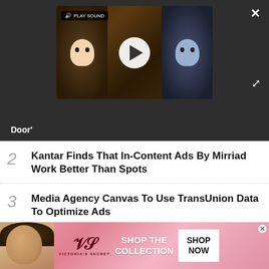[Figure (screenshot): Video player showing animated characters, with play button and 'PLAY SOUND' badge. Close (X) and expand buttons visible.]
Door'
2 Kantar Finds That In-Content Ads By Mirriad Work Better Than Spots
3 Media Agency Canvas To Use TransUnion Data To Optimize Ads
4 Netflix Weekly Rankings - It's Not Just the Vampires That Suck for Jamie Foxx Action
[Figure (photo): Victoria's Secret advertisement banner with model, VS logo, 'SHOP THE COLLECTION' text and 'SHOP NOW' button]